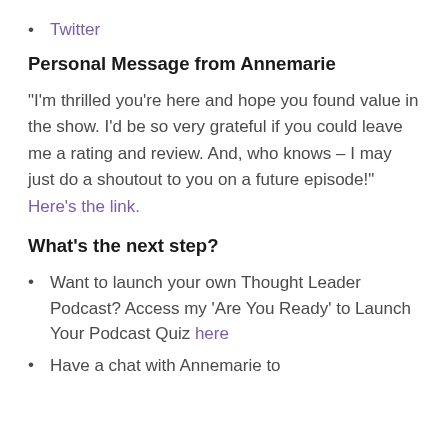Twitter
Personal Message from Annemarie
“I’m thrilled you’re here and hope you found value in the show. I’d be so very grateful if you could leave me a rating and review. And, who knows – I may just do a shoutout to you on a future episode!” Here’s the link.
What’s the next step?
Want to launch your own Thought Leader Podcast? Access my ‘Are You Ready’ to Launch Your Podcast Quiz here
Have a chat with Annemarie to